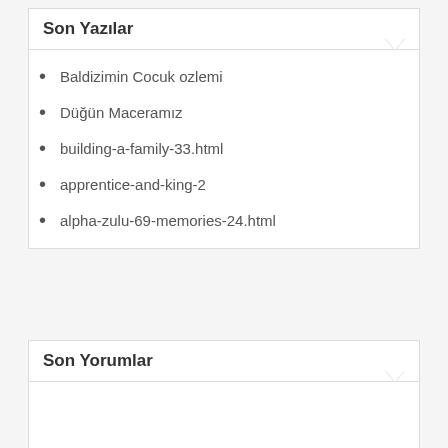Son Yazılar
Baldizimin Cocuk ozlemi
Düğün Maceramız
building-a-family-33.html
apprentice-and-king-2
alpha-zulu-69-memories-24.html
Son Yorumlar